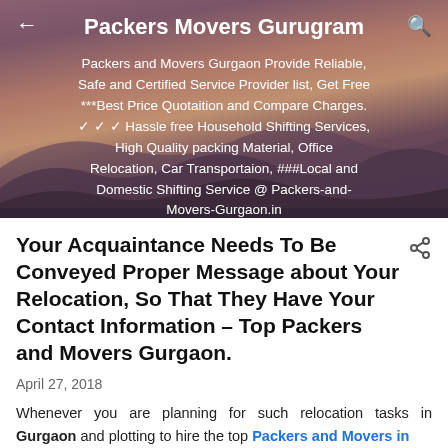Packers Movers Gurugram
[Figure (screenshot): Mobile app header banner with desert/mountain landscape background. Shows navigation bar with back arrow, title 'Packers Movers Gurugram', and search icon. Below is descriptive text about the service.]
Packers and Movers Gurgaon Provide Reliable, Safe and Certified Service Provider list, Get Free ***Best Price Quotaition and Compare Charges. ✓ ✓ ✓ Hassle free Household Shifting Services, High Quality packing Material, Office Relocation, Car Transportaion, ###Local and Domestic Shifting Service @ Packers-and-Movers-Gurgaon.in
Your Acquaintance Needs To Be Conveyed Proper Message about Your Relocation, So That They Have Your Contact Information – Top Packers and Movers Gurgaon.
April 27, 2018
Whenever you are planning for such relocation tasks in Gurgaon and plotting to hire the top Packers and Movers in